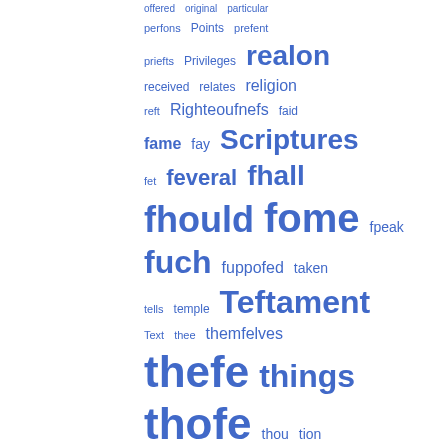[Figure (infographic): A word cloud / tag index with words in varying font sizes (indicating frequency) in blue color. Words include: offered, original, particular, perfons, Points, prefent, priefts, Privileges, realon, received, relates, religion, reft, Righteoufnefs, faid, fame, fay, Scriptures, fet, feveral, fhall, fhould, fome, fpeak, fuch, fuppofed, taken, tells, temple, Teftament, Text, thee, themfelves, thefe, things, thofe, thou, tion, Tranflation, true, truth, unto, ufed, verfion, whole, writings, written]